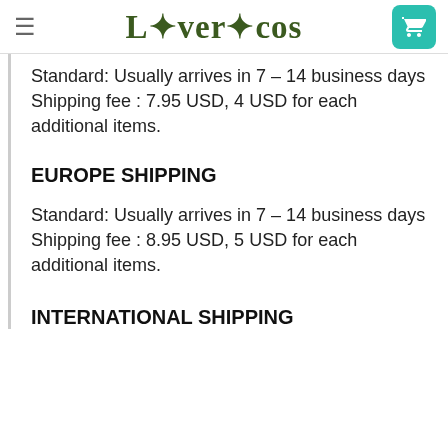Lovercos
Standard: Usually arrives in 7 – 14 business days
Shipping fee : 7.95 USD, 4 USD for each additional items.
EUROPE SHIPPING
Standard: Usually arrives in 7 – 14 business days
Shipping fee : 8.95 USD, 5 USD for each additional items.
INTERNATIONAL SHIPPING